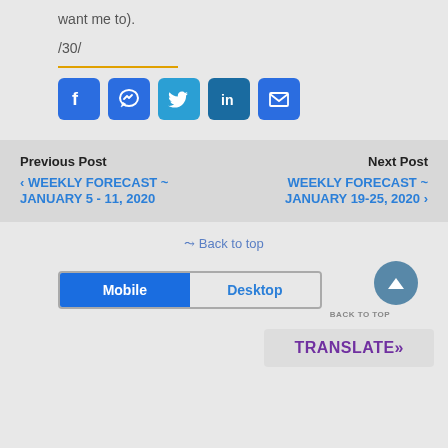want me to).
/30/
[Figure (infographic): Row of five social media share buttons: Facebook (blue), Messenger (blue), Twitter (light blue), LinkedIn (dark blue), Email (blue)]
Previous Post
< WEEKLY FORECAST ~ JANUARY 5 - 11, 2020
Next Post
WEEKLY FORECAST ~ JANUARY 19-25, 2020 >
Back to top
Mobile  Desktop
BACK TO TOP
TRANSLATE»